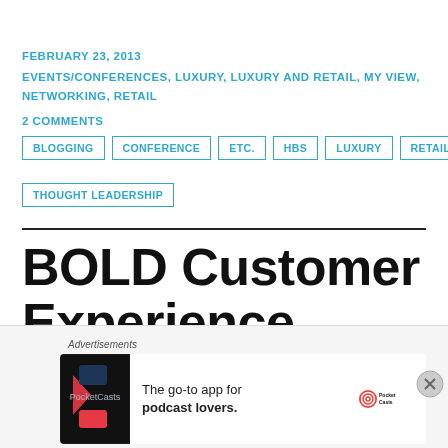FEBRUARY 23, 2013
EVENTS/CONFERENCES, LUXURY, LUXURY AND RETAIL, MY VIEW, NETWORKING, RETAIL
2 COMMENTS
BLOGGING
CONFERENCE
ETC.
HBS
LUXURY
RETAIL
THOUGHT LEADERSHIP
BOLD Customer Experience Management, Blogging.
[Figure (other): Pocket Casts advertisement banner: 'The go-to app for podcast lovers.' with app icon and Pocket Casts logo]